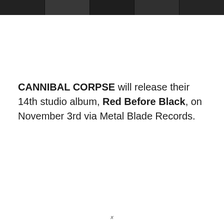[Figure (photo): Black and white photo strip showing band members of Cannibal Corpse at the top of the page]
CANNIBAL CORPSE will release their 14th studio album, Red Before Black, on November 3rd via Metal Blade Records.